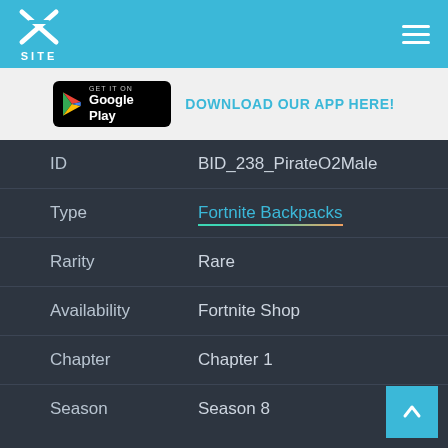XSITE — navigation header with logo and hamburger menu
[Figure (other): Google Play download badge with text DOWNLOAD OUR APP HERE!]
| Field | Value |
| --- | --- |
| ID | BID_238_PirateO2Male |
| Type | Fortnite Backpacks |
| Rarity | Rare |
| Availability | Fortnite Shop |
| Chapter | Chapter 1 |
| Season | Season 8 |